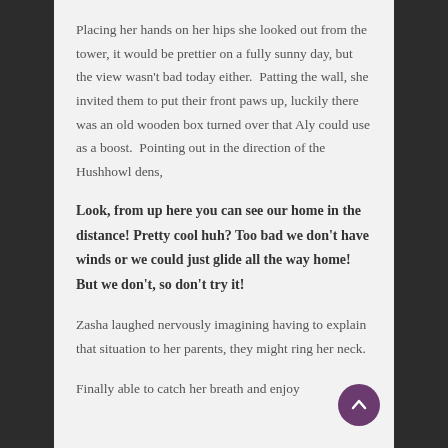Placing her hands on her hips she looked out from the tower, it would be prettier on a fully sunny day, but the view wasn't bad today either.  Patting the wall, she invited them to put their front paws up, luckily there was an old wooden box turned over that Aly could use as a boost.  Pointing out in the direction of the Hushhowl dens,
Look, from up here you can see our home in the distance! Pretty cool huh? Too bad we don't have winds or we could just glide all the way home!  But we don't, so don't try it!
Zasha laughed nervously imagining having to explain that situation to her parents, they might ring her neck.
Finally able to catch her breath and enjoy